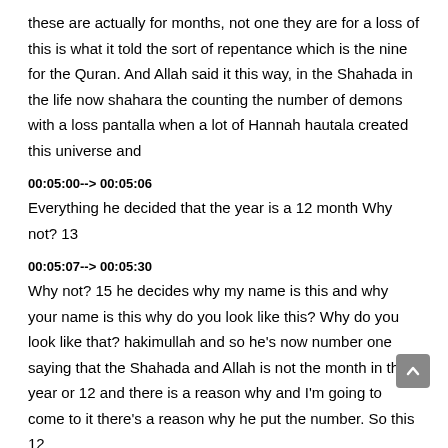these are actually for months, not one they are for a loss of this is what it told the sort of repentance which is the nine for the Quran. And Allah said it this way, in the Shahada in the life now shahara the counting the number of demons with a loss pantalla when a lot of Hannah hautala created this universe and
00:05:00--> 00:05:06
Everything he decided that the year is a 12 month Why not? 13
00:05:07--> 00:05:30
Why not? 15 he decides why my name is this and why your name is this why do you look like this? Why do you look like that? hakimullah and so he's now number one saying that the Shahada and Allah is not the month in the year or 12 and there is a reason why and I'm going to come to it there's a reason why he put the number. So this 12